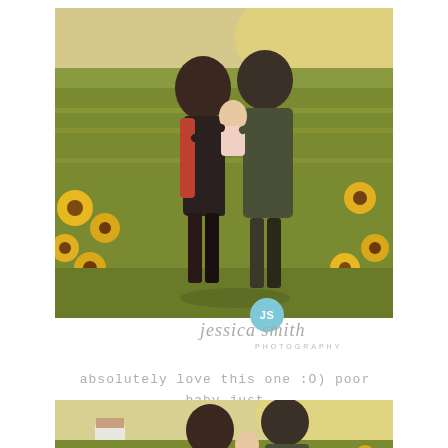[Figure (photo): A family of three — a woman, a man, and a baby — standing in a sunflower field during golden hour. The couple is holding and looking at their infant baby.]
absolutely love this one :O) poor baby just wanted to sleep!
[Figure (photo): A partial view of the same family in the sunflower field, cropped at the bottom of the page. The couple is again holding their baby.]